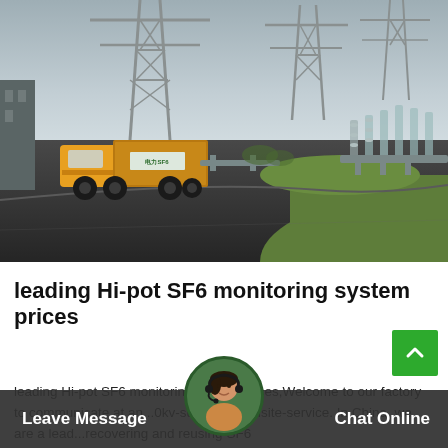[Figure (photo): A yellow utility truck driving through an electrical substation with high-voltage transmission towers and equipment, road leading through the facility, green grass on the right, overcast sky.]
leading Hi-pot SF6 monitoring system prices
leading Hi-pot SF6 monitoring system prices,Welcome to our factory to communicate at an...0kv-substation-onsite-service. In China, we are a lead...recovering and reusing SF6
Leave Message   Chat Online